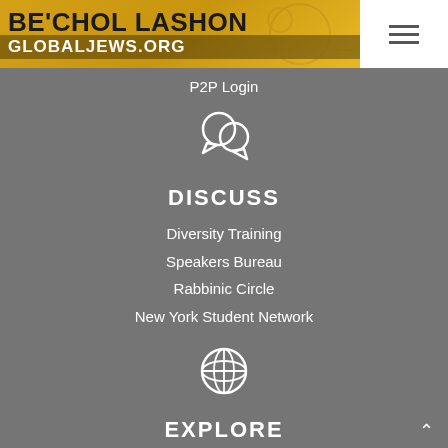[Figure (logo): Be'chol Lashon logo with globaljews.org text on golden/yellow banner background with decorative illustration]
≡ (hamburger menu icon)
P2P Login
[Figure (illustration): Two speech bubble chat icon in white outline]
DISCUSS
Diversity Training
Speakers Bureau
Rabbinic Circle
New York Student Network
[Figure (illustration): Globe/world icon in white outline]
EXPLORE
Camp Be'chol Lashon
Be'chol Lashon Family Camp